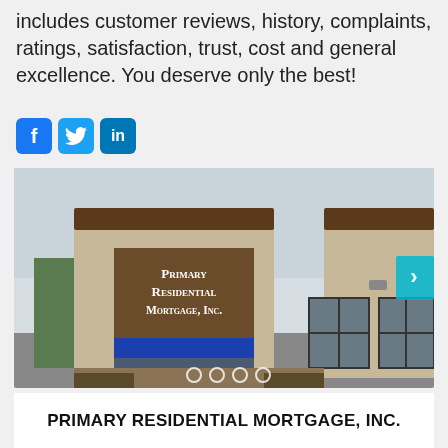includes customer reviews, history, complaints, ratings, satisfaction, trust, cost and general excellence. You deserve only the best!
[Figure (infographic): Social media icons: Facebook (blue f), Twitter (blue bird), LinkedIn (blue in)]
[Figure (photo): Exterior photo of a Primary Residential Mortgage, Inc. commercial building with tan/beige stucco facade, brown signage reading PRIMARY RESIDENTIAL MORTGAGE, INC., blue awning over entrance, and multiple windows. Carousel with 4 dots and a next arrow button.]
PRIMARY RESIDENTIAL MORTGAGE, INC.